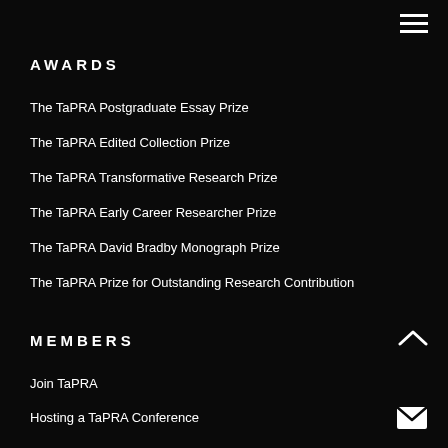AWARDS
The TaPRA Postgraduate Essay Prize
The TaPRA Edited Collection Prize
The TaPRA Transformative Research Prize
The TaPRA Early Career Researcher Prize
The TaPRA David Bradby Monograph Prize
The TaPRA Prize for Outstanding Research Contribution
MEMBERS
Join TaPRA
Hosting a TaPRA Conference